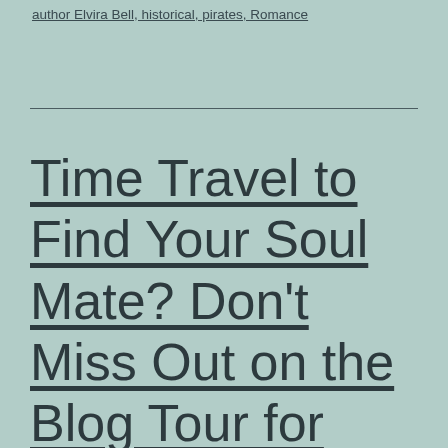author Elvira Bell, historical, pirates, Romance
Time Travel to Find Your Soul Mate? Don't Miss Out on the Blog Tour for Ride the Whirlwind by Jackie North (excerpt and